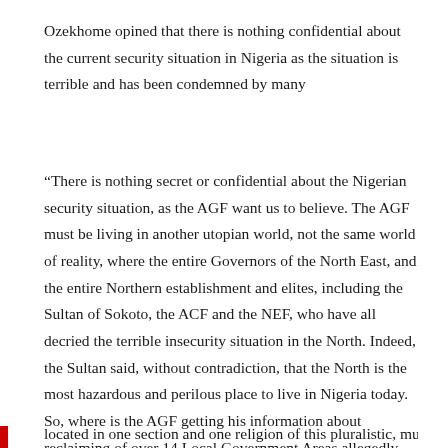Ozekhome opined that there is nothing confidential about the current security situation in Nigeria as the situation is terrible and has been condemned by many
“There is nothing secret or confidential about the Nigerian security situation, as the AGF want us to believe. The AGF must be living in another utopian world, not the same world of reality, where the entire Governors of the North East, and the entire Northern establishment and elites, including the Sultan of Sokoto, the ACF and the NEF, who have all decried the terrible insecurity situation in the North. Indeed, the Sultan said, without contradiction, that the North is the most hazardous and perilous place to live in Nigeria today. So, where is the AGF getting his information about reclaiming of over 14 Local Government Areas allegedly previously controlled by the Boko Haram from? Is there anybody in Nigeria today, including even the toddlers, who do not know that the entire security architecture and apparatchik of Nigeria is over 98% controlled and located in one section and one religion of this pluralistic, multi-